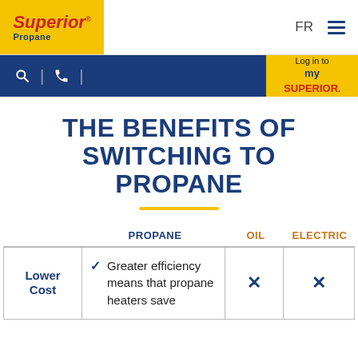Superior Propane | FR | menu
Search | Phone | Log in to mySUPERIOR
THE BENEFITS OF SWITCHING TO PROPANE
|  | PROPANE | OIL | ELECTRIC |
| --- | --- | --- | --- |
| Lower Cost | ✓ Greater efficiency means that propane heaters save | ✗ | ✗ |